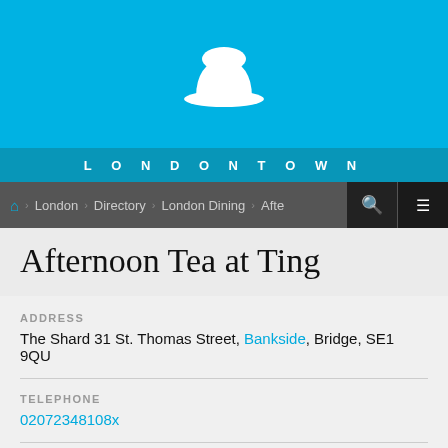[Figure (logo): White bowler hat icon on blue background with LONDONTOWN text]
LONDONTOWN
London > Directory > London Dining > Afte
Afternoon Tea at Ting
ADDRESS
The Shard 31 St. Thomas Street, Bankside, Bridge, SE1 9QU
TELEPHONE
02072348108x
PRICES
£41 and over